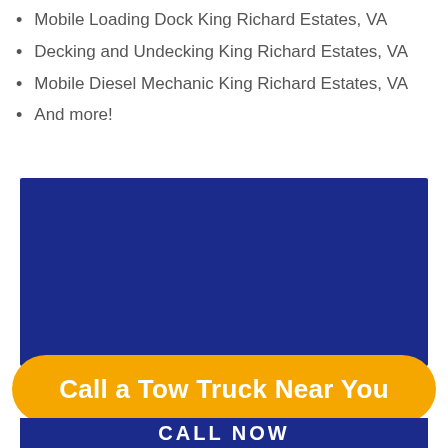Mobile Loading Dock King Richard Estates, VA
Decking and Undecking King Richard Estates, VA
Mobile Diesel Mechanic King Richard Estates, VA
And more!
[Figure (other): Solid dark navy blue rectangle placeholder image]
Call a Tow Truck Near You
CALL NOW